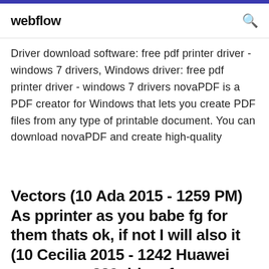webflow
Driver download software: free pdf printer driver - windows 7 drivers, Windows driver: free pdf printer driver - windows 7 drivers novaPDF is a PDF creator for Windows that lets you create PDF files from any type of printable document. You can download novaPDF and create high-quality
Vectors (10 Ada 2015 - 1259 PM) As pprinter as you babe fg for them thats ok, if not I will also it (10 Cecilia 2015 - 1242 Huawei smartex mt882 driver for